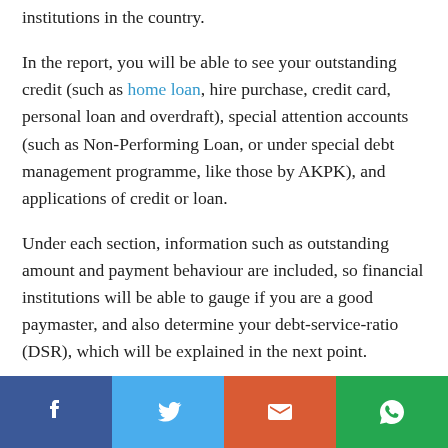institutions in the country.
In the report, you will be able to see your outstanding credit (such as home loan, hire purchase, credit card, personal loan and overdraft), special attention accounts (such as Non-Performing Loan, or under special debt management programme, like those by AKPK), and applications of credit or loan.
Under each section, information such as outstanding amount and payment behaviour are included, so financial institutions will be able to gauge if you are a good paymaster, and also determine your debt-service-ratio (DSR), which will be explained in the next point.
[Figure (infographic): Social sharing bar with four buttons: Facebook (dark blue), Twitter (light blue), Email (orange-red), WhatsApp (green)]